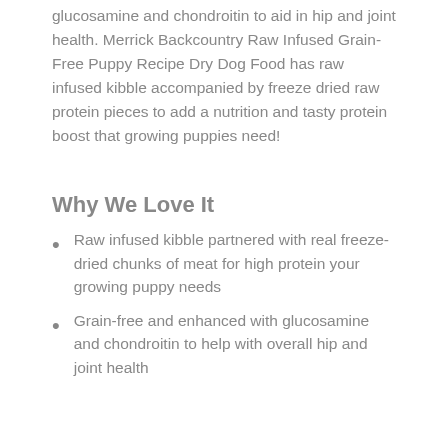glucosamine and chondroitin to aid in hip and joint health. Merrick Backcountry Raw Infused Grain-Free Puppy Recipe Dry Dog Food has raw infused kibble accompanied by freeze dried raw protein pieces to add a nutrition and tasty protein boost that growing puppies need!
Why We Love It
Raw infused kibble partnered with real freeze-dried chunks of meat for high protein your growing puppy needs
Grain-free and enhanced with glucosamine and chondroitin to help with overall hip and joint health